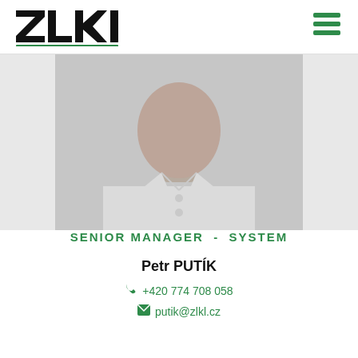[Figure (logo): ZLKL company logo in black bold text with green underline, and a green hamburger menu icon on the right]
[Figure (photo): Grayscale photo of a man wearing a white polo shirt, shown from chest up, head slightly cut off at top]
SENIOR MANAGER - SYSTEM
Petr PUTÍK
+420 774 708 058
putik@zlkl.cz